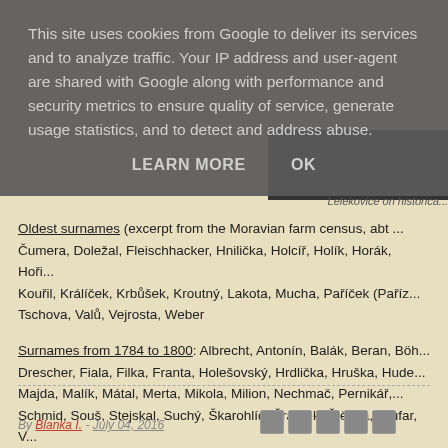This site uses cookies from Google to deliver its services and to analyze traffic. Your IP address and user-agent are shared with Google along with performance and security metrics to ensure quality of service, generate usage statistics, and to detect and address abuse.
LEARN MORE    OK
Lelekovice on historical postca...
Oldest surnames (excerpt from the Moravian farm census, abt ... Čumera, Doležal, Fleischhacker, Hnilička, Holcíř, Holík, Horák, Hoři... Kouřil, Králíček, Krbůšek, Kroutný, Lakota, Mucha, Paříček (Paříz... Tschova, Valů, Vejrosta, Weber
Surnames from 1784 to 1800: Albrecht, Antonín, Balák, Beran, Böh... Drescher, Fiala, Filka, Franta, Holešovský, Hrdlička, Hruška, Hude... Majda, Malík, Mátal, Merta, Mikola, Milion, Nechmač, Pernikář,... Schmid, Souš, Stejskal, Suchý, Škarohlíd, Šrámek, Štětina, Toufar, V...
By Blanka I. - July 04, 2016